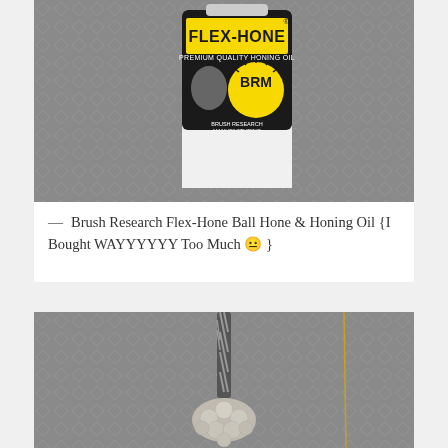[Figure (photo): Photo of a Flex-Hone Premium Quality Honing Oil bottle by Brush Research Manufacturing (BRM), placed against a diamond-plate metal background]
— Brush Research Flex-Hone Ball Hone & Honing Oil {I Bought WAYYYYYY Too Much 😐 }
[Figure (photo): Photo of a Flex-Hone ball hone tool with abrasive balls at the end, shown against a diamond-plate metal background]